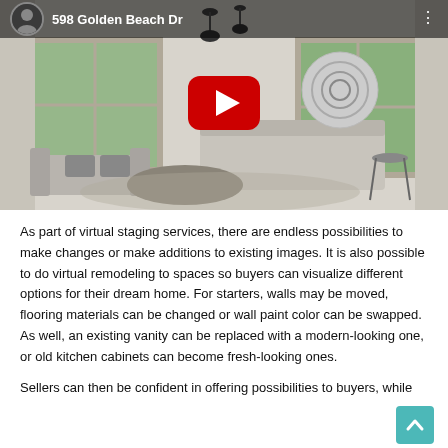[Figure (screenshot): YouTube video thumbnail showing a staged luxury living room with white sofas, pendant lights, large windows with greenery outside, a circular wall art piece. A YouTube play button is overlaid in the center. The top bar shows a realtor's avatar, the title '598 Golden Beach Dr', and a three-dot menu icon.]
As part of virtual staging services, there are endless possibilities to make changes or make additions to existing images. It is also possible to do virtual remodeling to spaces so buyers can visualize different options for their dream home. For starters, walls may be moved, flooring materials can be changed or wall paint color can be swapped. As well, an existing vanity can be replaced with a modern-looking one, or old kitchen cabinets can become fresh-looking ones.
Sellers can then be confident in offering possibilities to buyers, while